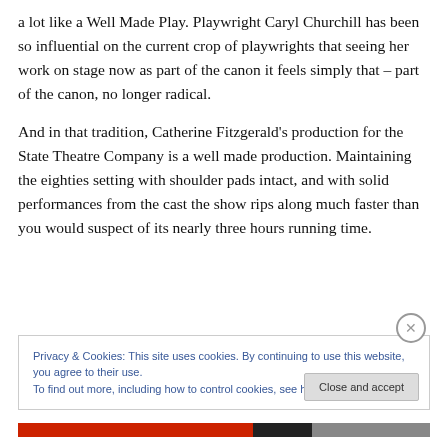a lot like a Well Made Play. Playwright Caryl Churchill has been so influential on the current crop of playwrights that seeing her work on stage now as part of the canon it feels simply that – part of the canon, no longer radical.
And in that tradition, Catherine Fitzgerald's production for the State Theatre Company is a well made production. Maintaining the eighties setting with shoulder pads intact, and with solid performances from the cast the show rips along much faster than you would suspect of its nearly three hours running time.
Privacy & Cookies: This site uses cookies. By continuing to use this website, you agree to their use.
To find out more, including how to control cookies, see here: Cookie Policy
Close and accept